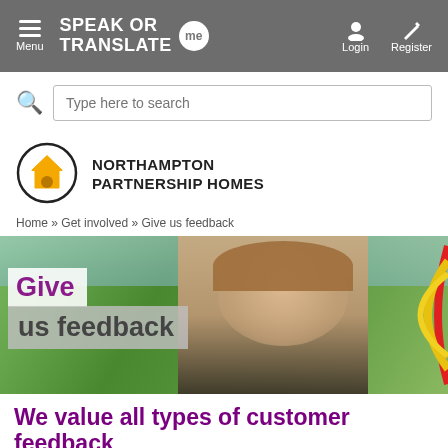Menu | SPEAK OR TRANSLATE me | Login | Register
Type here to search
[Figure (logo): Northampton Partnership Homes logo: circle with yellow house icon]
NORTHAMPTON PARTNERSHIP HOMES
Home » Get involved » Give us feedback
[Figure (photo): Hero image of a smiling woman outdoors with decorative coloured ring arcs on the right. Overlaid text reads 'Give us feedback']
We value all types of customer feedback